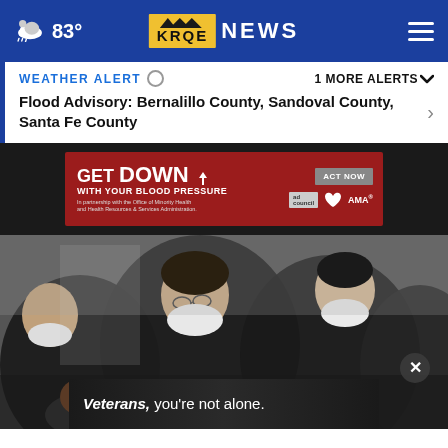83° KRQE NEWS
WEATHER ALERT  1 MORE ALERTS
Flood Advisory: Bernalillo County, Sandoval County, Santa Fe County
[Figure (other): Advertisement banner: GET DOWN WITH YOUR BLOOD PRESSURE – ACT NOW, with ad council, American Heart Association, and AMA logos]
[Figure (photo): People wearing black clothing and white masks, heads bowed in what appears to be a moment of silence or prayer]
[Figure (other): Advertisement: Veterans, you're not alone – with overlaid image of veterans]